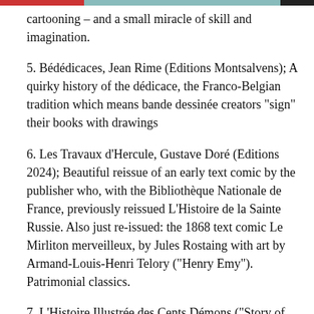cartooning – and a small miracle of skill and imagination.
5. Bédédicaces, Jean Rime (Editions Montsalvens); A quirky history of the dédicace, the Franco-Belgian tradition which means bande dessinée creators "sign" their books with drawings
6. Les Travaux d'Hercule, Gustave Doré (Editions 2024); Beautiful reissue of an early text comic by the publisher who, with the Bibliothèque Nationale de France, previously reissued L'Histoire de la Sainte Russie. Also just re-issued: the 1868 text comic Le Mirliton merveilleux, by Jules Rostaing with art by Armand-Louis-Henri Telory ("Henry Emy"). Patrimonial classics.
7. L'Histoire Illustrée des Cents Démons ("Story of...